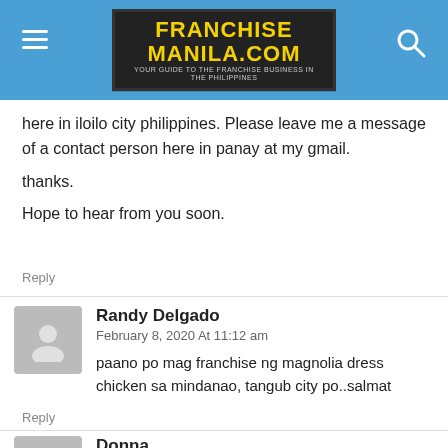[Figure (screenshot): FranchiseManila.com website header with blue background, hamburger menu, logo, and search icon]
here in iloilo city philippines. Please leave me a message of a contact person here in panay at my gmail.

thanks.

Hope to hear from you soon.
Reply
Randy Delgado
February 8, 2020 At 11:12 am
paano po mag franchise ng magnolia dress chicken sa mindanao, tangub city po..salmat
Reply
Donna